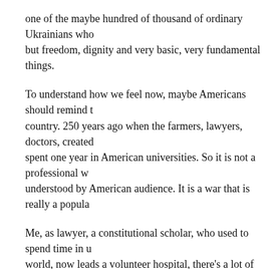one of the maybe hundred of thousand of ordinary Ukrainians who but freedom, dignity and very basic, very fundamental things.
To understand how we feel now, maybe Americans should remind t country. 250 years ago when the farmers, lawyers, doctors, created spent one year in American universities. So it is not a professional w understood by American audience. It is a war that is really a popula
Me, as lawyer, a constitutional scholar, who used to spend time in u world, now leads a volunteer hospital, there's a lot of medics which is a medic in a children's hospital near me and she treated children a they help. My son who is a medic as well, now in (INAUDIBLE), a my friends who are businessmen, who are lawyers as well, who are their hand.
And just believe me, Russia never, ever, ever could win because fo